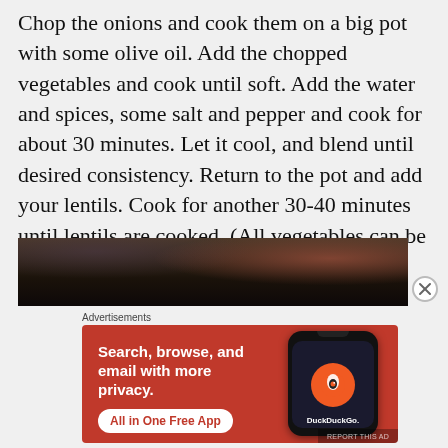Chop the onions and cook them on a big pot with some olive oil. Add the chopped vegetables and cook until soft. Add the water and spices, some salt and pepper and cook for about 30 minutes. Let it cool, and blend until desired consistency. Return to the pot and add your lentils. Cook for another 30-40 minutes until lentils are cooked. (All vegetables can be subbed for whatever you have at home)
[Figure (photo): Blurred dark image of cooking scene, partially visible at bottom of recipe text]
Advertisements
[Figure (illustration): DuckDuckGo advertisement banner with orange background. Text: 'Search, browse, and email with more privacy. All in One Free App'. Shows a phone mockup with DuckDuckGo logo.]